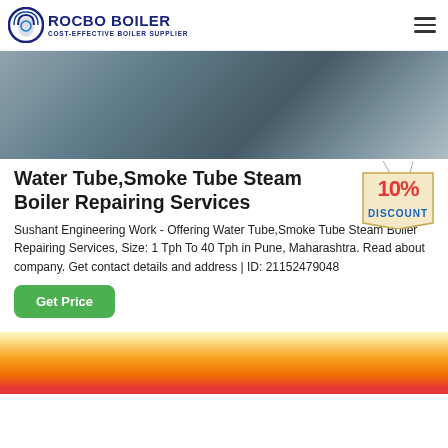ROCBO BOILER – COST-EFFECTIVE BOILER SUPPLIER
[Figure (photo): Industrial boiler equipment photo showing pipes, machinery, and industrial components on a concrete surface]
Water Tube,Smoke Tube Steam Boiler Repairing Services
[Figure (infographic): 10% DISCOUNT badge graphic with red and blue text on a beige/yellow hanging tag]
Sushant Engineering Work - Offering Water Tube,Smoke Tube Steam Boiler Repairing Services, Size: 1 Tph To 40 Tph in Pune, Maharashtra. Read about company. Get contact details and address | ID: 21152479048
[Figure (photo): Partial view of industrial boiler or machinery with yellow and red components at the bottom of the page]